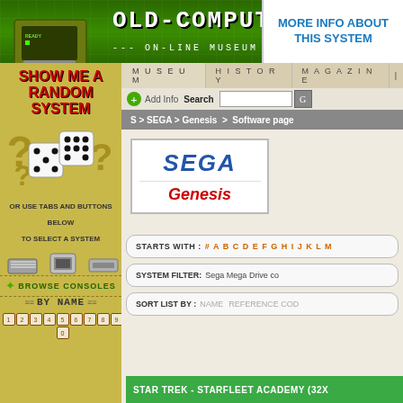OLD-COMPUTERS.COM
--- ON-LINE MUSEUM SINCE 1995 ---
MORE INFO ABOUT THIS SYSTEM
MUSEUM  HISTORY  MAGAZINE
Add Info  Search
S > SEGA > Genesis > Software page
[Figure (illustration): Show Me A Random System panel with dice and question marks on yellow-green background]
SHOW ME A RANDOM SYSTEM
OR USE TABS AND BUTTONS BELOW TO SELECT A SYSTEM
BROWSE CONSOLES
BY NAME
1 2 3 4 5 6 7 8 9 0
[Figure (logo): SEGA Genesis logo in bordered box]
STARTS WITH : # A B C D E F G H I J K L M...
SYSTEM FILTER: Sega Mega Drive co...
SORT LIST BY : NAME  REFERENCE COD...
STAR TREK - STARFLEET ACADEMY (32X...)